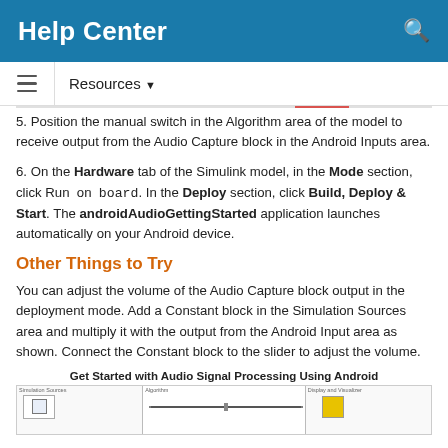Help Center
Resources
5. Position the manual switch in the Algorithm area of the model to receive output from the Audio Capture block in the Android Inputs area.
6. On the Hardware tab of the Simulink model, in the Mode section, click Run on board. In the Deploy section, click Build, Deploy & Start. The androidAudioGettingStarted application launches automatically on your Android device.
Other Things to Try
You can adjust the volume of the Audio Capture block output in the deployment mode. Add a Constant block in the Simulation Sources area and multiply it with the output from the Android Input area as shown. Connect the Constant block to the slider to adjust the volume.
Get Started with Audio Signal Processing Using Android
[Figure (screenshot): Three-panel diagram showing Simulink model blocks: Simulation Sources area (left), Algorithm area (center with arrow), Display and Visualizer area (right with yellow block).]